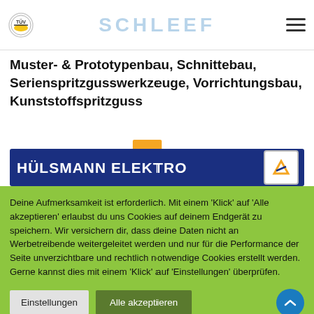SCHLEEF
Muster- & Prototypenbau, Schnittebau, Serienspritzgusswerkzeuge, Vorrichtungsbau, Kunststoffspritzguss
[Figure (logo): Hülsmann Elektro logo banner — dark blue background with white bold text 'HÜLSMANN ELEKTRO' and a badge icon on the right]
Deine Aufmerksamkeit ist erforderlich. Mit einem 'Klick' auf 'Alle akzeptieren' erlaubst du uns Cookies auf deinem Endgerät zu speichern. Wir versichern dir, dass deine Daten nicht an Werbetreibende weitergeleitet werden und nur für die Performance der Seite unverzichtbare und rechtlich notwendige Cookies erstellt werden. Gerne kannst dies mit einem 'Klick' auf 'Einstellungen' überprüfen.